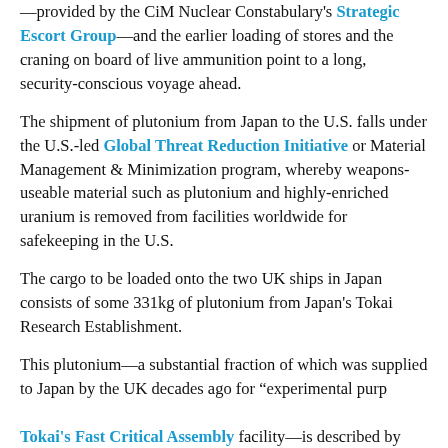—provided by the CiM Nuclear Constabulary's Strategic Escort Group—and the earlier loading of stores and the craning on board of live ammunition point to a long, security-conscious voyage ahead.
The shipment of plutonium from Japan to the U.S. falls under the U.S.-led Global Threat Reduction Initiative or Material Management & Minimization program, whereby weapons-useable material such as plutonium and highly-enriched uranium is removed from facilities worldwide for safekeeping in the U.S.
The cargo to be loaded onto the two UK ships in Japan consists of some 331kg of plutonium from Japan's Tokai Research Establishment.
This plutonium—a substantial fraction of which was supplied to Japan by the UK decades ago for "experimental purp..." Tokai's Fast Critical Assembly facility—is described by the U.S. Department of Energy (DOE) as "posing a poten... threat to national security, being susceptible to use in an